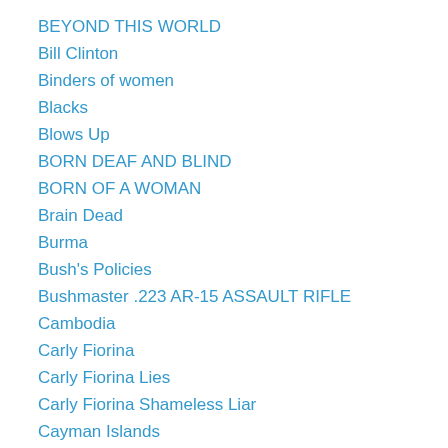BEYOND THIS WORLD
Bill Clinton
Binders of women
Blacks
Blows Up
BORN DEAF AND BLIND
BORN OF A WOMAN
Brain Dead
Burma
Bush's Policies
Bushmaster .223 AR-15 ASSAULT RIFLE
Cambodia
Carly Fiorina
Carly Fiorina Lies
Carly Fiorina Shameless Liar
Cayman Islands
Children
China
Christ
Christianity